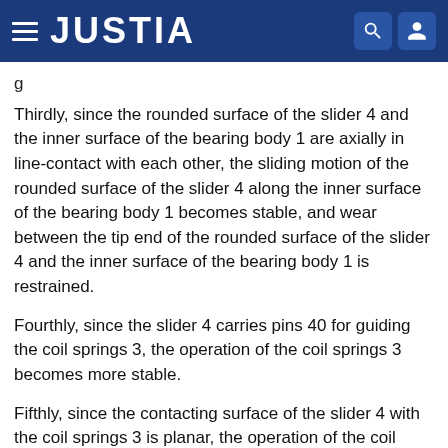JUSTIA
g
Thirdly, since the rounded surface of the slider 4 and the inner surface of the bearing body 1 are axially in line-contact with each other, the sliding motion of the rounded surface of the slider 4 along the inner surface of the bearing body 1 becomes stable, and wear between the tip end of the rounded surface of the slider 4 and the inner surface of the bearing body 1 is restrained.
Fourthly, since the slider 4 carries pins 40 for guiding the coil springs 3, the operation of the coil springs 3 becomes more stable.
Fifthly, since the contacting surface of the slider 4 with the coil springs 3 is planar, the operation of the coil springs 3 becomes much more stable.